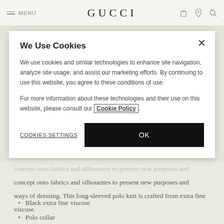MENU | GUCCI
We Use Cookies
We use cookies and similar technologies to enhance site navigation, analyze site usage, and assist our marketing efforts. By continuing to use this website, you agree to these conditions of use.
For more information about these technologies and their use on this website, please consult our Cookie Policy.
COOKIES SETTINGS    OK
concept onto fabrics and silhouettes to present new purposes and ways of dressing. This long-sleeved polo knit is crafted from extra fine viscose.
Black extra fine viscose
Polo collar